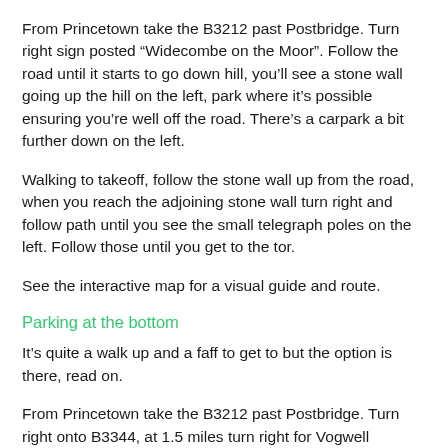From Princetown take the B3212 past Postbridge. Turn right sign posted “Widecombe on the Moor”. Follow the road until it starts to go down hill, you’ll see a stone wall going up the hill on the left, park where it’s possible ensuring you’re well off the road. There’s a carpark a bit further down on the left.
Walking to takeoff, follow the stone wall up from the road, when you reach the adjoining stone wall turn right and follow path until you see the small telegraph poles on the left. Follow those until you get to the tor.
See the interactive map for a visual guide and route.
Parking at the bottom
It’s quite a walk up and a faff to get to but the option is there, read on.
From Princetown take the B3212 past Postbridge. Turn right onto B3344, at 1.5 miles turn right for Vogwell Cottage /